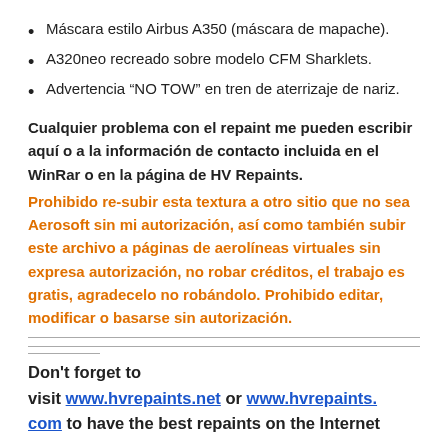Máscara estilo Airbus A350 (máscara de mapache).
A320neo recreado sobre modelo CFM Sharklets.
Advertencia “NO TOW” en tren de aterrizaje de nariz.
Cualquier problema con el repaint me pueden escribir aquí o a la información de contacto incluida en el WinRar o en la página de HV Repaints.
Prohibido re-subir esta textura a otro sitio que no sea Aerosoft sin mi autorización, así como también subir este archivo a páginas de aerolíneas virtuales sin expresa autorización, no robar créditos, el trabajo es gratis, agradecelo no robándolo. Prohibido editar, modificar o basarse sin autorización.
Don't forget to visit www.hvrepaints.net or www.hvrepaints.com to have the best repaints on the Internet